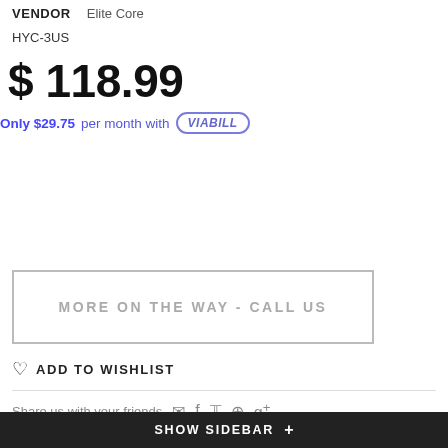VENDOR   Elite Core
HYC-3US
$ 118.99
Only $29.75 per month with VIABILL
MORE ON THE WAY - CALL US
ADD TO WISHLIST
Share us with your friends
SHOW SIDEBAR +